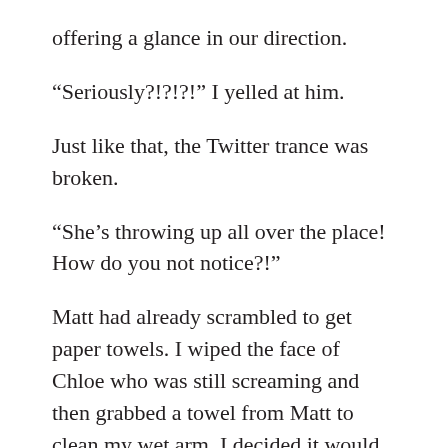offering a glance in our direction.
“Seriously?!?!?!” I yelled at him.
Just like that, the Twitter trance was broken.
“She’s throwing up all over the place! How do you not notice?!”
Matt had already scrambled to get paper towels. I wiped the face of Chloe who was still screaming and then grabbed a towel from Matt to clean my wet arm. I decided it would be easiest for the two of us to strip down to our underwear and throw our clothes straight into the washing machine.
As I was delicately lifting the vomit-covered shirts over